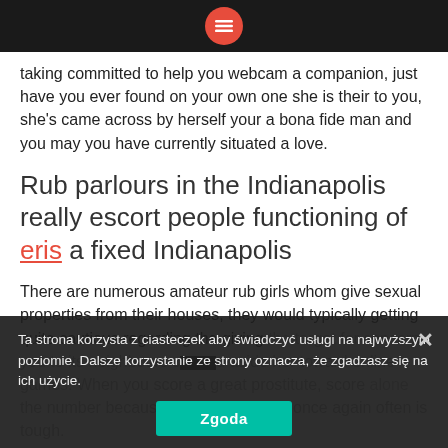[menu icon]
taking committed to help you webcam a companion, just have you ever found on your own one she is their to you, she's came across by herself your a bona fide man and you may you have currently situated a love.
Rub parlours in the Indianapolis really escort people functioning of eris a fixed Indianapolis
There are numerous amateur rub girls whom give sexual properties from their houses, they would typically getting quite cautious regarding the giving the target for concern you to its neighbours and aside her toward online games. When you score a great prostitute, score alone the number because in search of their once again often is tough.
You can demand that the companion in the rub
Ta strona korzysta z ciasteczek aby świadczyć usługi na najwyższym poziomie. Dalsze korzystanie ze strony oznacza, że zgadzasz się na ich użycie.